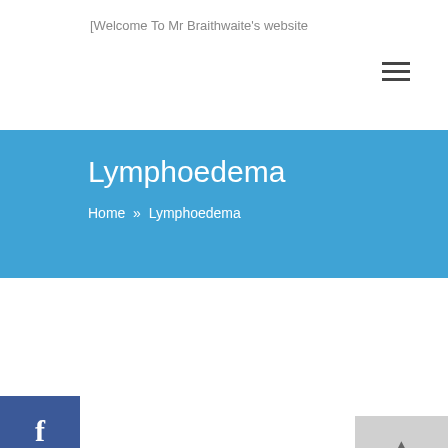Welcome To Mr Braithwaite's website
Lymphoedema
Home » Lymphoedema
1. What is lymphoedema?
Lymphoedema is swelling which is due to a build up of fluid (lymph) in the leg. Normally this fluid drains out of the leg via a network of tiny tubes (lymphatics).
In your case the fluid is not draining out properly. To start with the swelling is often noticeable at the end of the day and goes down at night. However, unless the